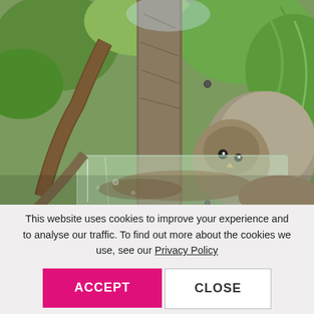[Figure (photo): Photograph of an owl camouflaged against tree bark and branches in a lush green foliage setting. A rectangular glass container is visible in the foreground lower portion of the image.]
This website uses cookies to improve your experience and to analyse our traffic. To find out more about the cookies we use, see our Privacy Policy
ACCEPT
CLOSE